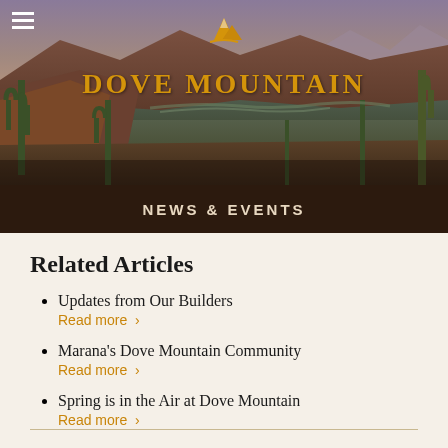[Figure (photo): Desert mountain landscape with saguaro cacti, golden hour lighting, showing Dove Mountain area in Arizona with mountain ridges and valley in background. Gold mountain logo icon above the text.]
DOVE MOUNTAIN
NEWS & EVENTS
Related Articles
Updates from Our Builders
Read more ›
Marana's Dove Mountain Community
Read more ›
Spring is in the Air at Dove Mountain
Read more ›